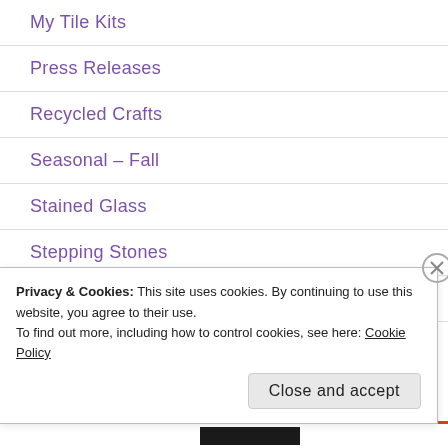My Tile Kits
Press Releases
Recycled Crafts
Seasonal – Fall
Stained Glass
Stepping Stones
Uncategorized
Privacy & Cookies: This site uses cookies. By continuing to use this website, you agree to their use.
To find out more, including how to control cookies, see here: Cookie Policy
Close and accept